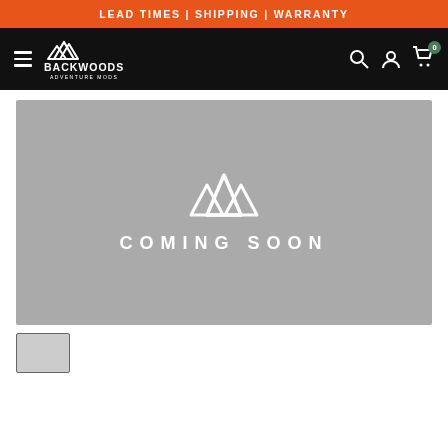LEAD TIMES | SHIPPING | WARRANTY
[Figure (logo): Backwoods Adventure Mods logo with mountain peaks icon on black navigation bar with hamburger menu, search, account, and cart icons]
[Figure (photo): Coming soon placeholder image with Backwoods mountain logo and text COMING SOON on grey background]